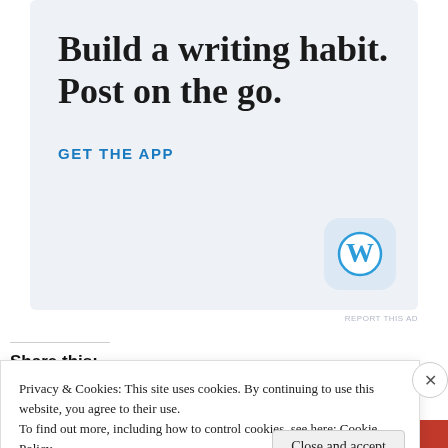[Figure (illustration): WordPress app advertisement banner with light blue background. Large serif text reads 'Build a writing habit. Post on the go.' with a 'GET THE APP' call-to-action link and WordPress logo icon (blue W in rounded square) in bottom right.]
REPORT THIS AD
Share this:
[Figure (infographic): Row of five social media share buttons as colored circles: Twitter (light blue), Facebook (blue), Pinterest (red), LinkedIn (teal), Tumblr (dark navy).]
Privacy & Cookies: This site uses cookies. By continuing to use this website, you agree to their use.
To find out more, including how to control cookies, see here: Cookie Policy
Close and accept